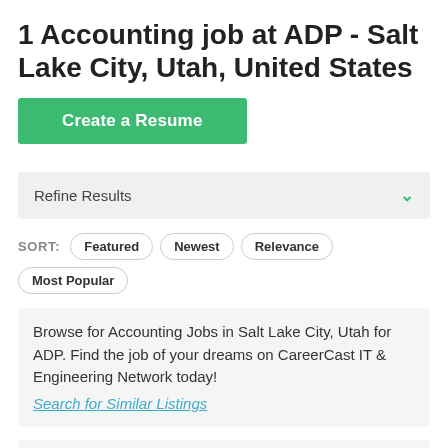1 Accounting job at ADP - Salt Lake City, Utah, United States
Create a Resume
Refine Results
SORT: Featured Newest Relevance Most Popular
Browse for Accounting Jobs in Salt Lake City, Utah for ADP. Find the job of your dreams on CareerCast IT & Engineering Network today!
Search for Similar Listings
1+ months
Benefit Solutions Specialist I
ADP